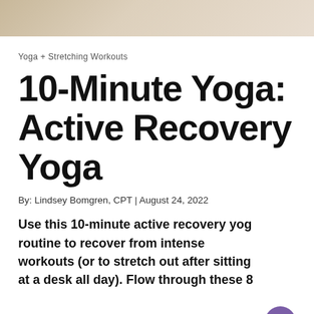[Figure (photo): Top portion of a photo showing a wooden floor or yoga mat surface, cropped at the top of the page]
Yoga + Stretching Workouts
10-Minute Yoga: Active Recovery Yoga
By: Lindsey Bomgren, CPT | August 24, 2022
Use this 10-minute active recovery yoga routine to recover from intense workouts (or to stretch out after sitting at a desk all day). Flow through these 8